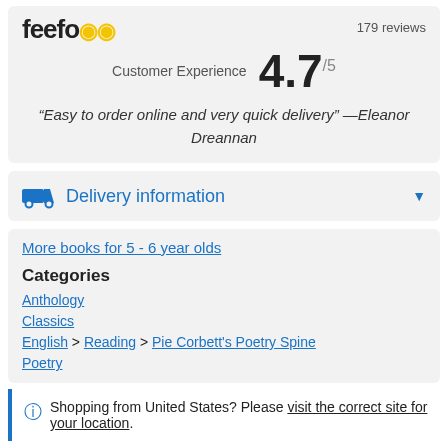[Figure (logo): Feefo logo with yellow smiley face icons and '179 reviews' text, plus Customer Experience rating of 4.7/5 and quote from Eleanor Dreannan]
"Easy to order online and very quick delivery" —Eleanor Dreannan
Delivery information
More books for 5 - 6 year olds
Categories
Anthology
Classics
English > Reading > Pie Corbett's Poetry Spine
Poetry
Shopping from United States? Please visit the correct site for your location.